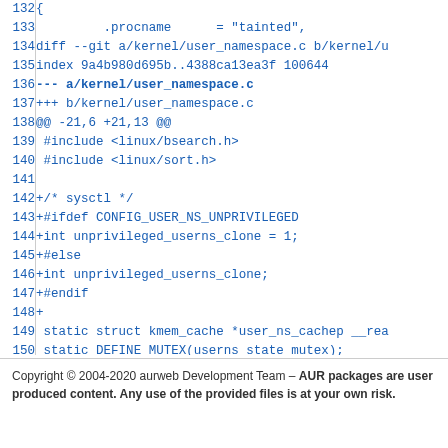132  {
133       .procname      = "tainted",
134  diff --git a/kernel/user_namespace.c b/kernel/u
135  index 9a4b980d695b..4388ca13ea3f 100644
136  --- a/kernel/user_namespace.c
137  +++ b/kernel/user_namespace.c
138  @@ -21,6 +21,13 @@
139   #include <linux/bsearch.h>
140   #include <linux/sort.h>
141  
142  +/* sysctl */
143  +#ifdef CONFIG_USER_NS_UNPRIVILEGED
144  +int unprivileged_userns_clone = 1;
145  +#else
146  +int unprivileged_userns_clone;
147  +#endif
148  +
149   static struct kmem_cache *user_ns_cachep __rea
150   static DEFINE_MUTEX(userns_state_mutex);
151  
152  --
153  2.31.1
154
Copyright © 2004-2020 aurweb Development Team – AUR packages are user produced content. Any use of the provided files is at your own risk.